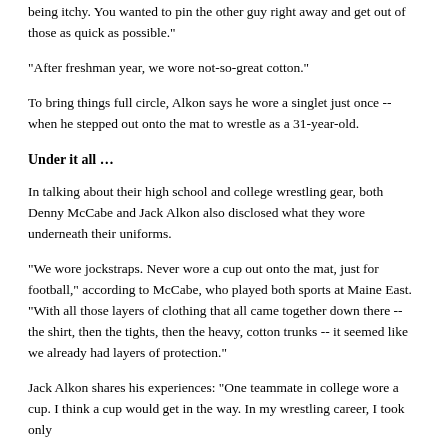being itchy. You wanted to pin the other guy right away and get out of those as quick as possible."
"After freshman year, we wore not-so-great cotton."
To bring things full circle, Alkon says he wore a singlet just once -- when he stepped out onto the mat to wrestle as a 31-year-old.
Under it all …
In talking about their high school and college wrestling gear, both Denny McCabe and Jack Alkon also disclosed what they wore underneath their uniforms.
"We wore jockstraps. Never wore a cup out onto the mat, just for football," according to McCabe, who played both sports at Maine East. "With all those layers of clothing that all came together down there -- the shirt, then the tights, then the heavy, cotton trunks -- it seemed like we already had layers of protection."
Jack Alkon shares his experiences: "One teammate in college wore a cup. I think a cup would get in the way. In my wrestling career, I took only